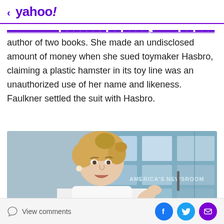< yahoo!
author of two books. She made an undisclosed amount of money when she sued toymaker Hasbro, claiming a plastic hamster in its toy line was an unauthorized use of her name and likeness. Faulkner settled the suit with Hasbro.
[Figure (photo): A blonde woman in a white sleeveless top speaking or presenting, with an 'America's Newsroom' news desk background visible behind her.]
View comments